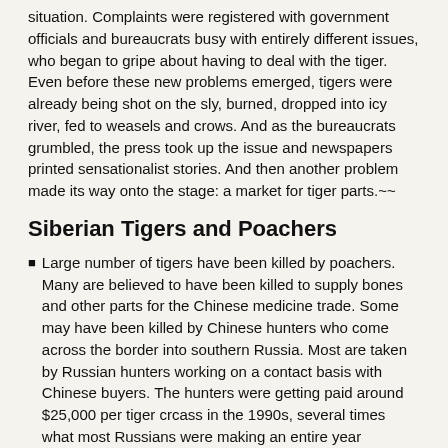situation. Complaints were registered with government officials and bureaucrats busy with entirely different issues, who began to gripe about having to deal with the tiger. Even before these new problems emerged, tigers were already being shot on the sly, burned, dropped into icy river, fed to weasels and crows. And as the bureaucrats grumbled, the press took up the issue and newspapers printed sensationalist stories. And then another problem made its way onto the stage: a market for tiger parts.~~
Siberian Tigers and Poachers
Large number of tigers have been killed by poachers. Many are believed to have been killed to supply bones and other parts for the Chinese medicine trade. Some may have been killed by Chinese hunters who come across the border into southern Russia. Most are taken by Russian hunters working on a contact basis with Chinese buyers. The hunters were getting paid around $25,000 per tiger crcass in the 1990s, several times what most Russians were making an entire year
.
Dale Miquelle, an American scientist based in Primorsky,